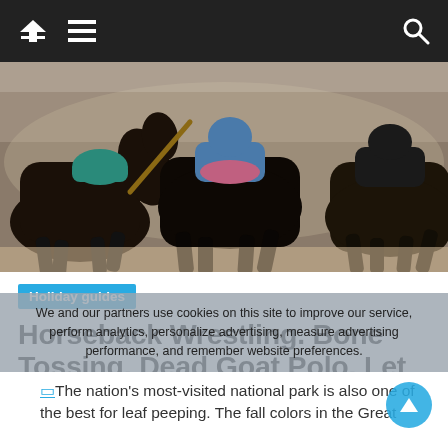Navigation bar with home, menu, and search icons
[Figure (photo): Close-up action photo of dark horses with riders during a traditional nomad equestrian game, dusty atmosphere]
Holiday guides
Horseback Wrestling. Bone Tossing. Dead Goat Polo. Let the Nomad Games Begin!
We and our partners use cookies on this site to improve our service, perform analytics, personalize advertising, measure advertising performance, and remember website preferences.
The nation's most-visited national park is also one of the best for leaf peeping. The fall colors in the Great